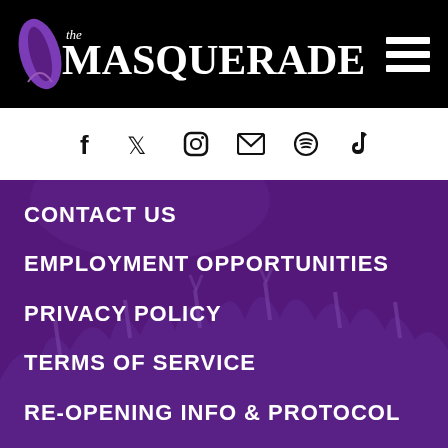[Figure (logo): The Masquerade logo with feather/mask icon on black header bar]
[Figure (infographic): Social media icons row: Facebook, Twitter, Instagram, Email, Spotify, TikTok on white bar]
CONTACT US
EMPLOYMENT OPPORTUNITIES
PRIVACY POLICY
TERMS OF SERVICE
RE-OPENING INFO & PROTOCOL